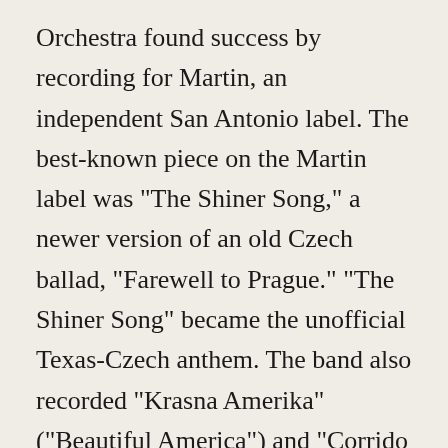Orchestra found success by recording for Martin, an independent San Antonio label. The best-known piece on the Martin label was "The Shiner Song," a newer version of an old Czech ballad, "Farewell to Prague." "The Shiner Song" became the unofficial Texas-Czech anthem. The band also recorded "Krasna Amerika" ("Beautiful America") and "Corrido Rock," which became popular in the Mexican-American community. In 1995 "The Shiner Song" received special recognition from the Texas Polka Music Association as an "all time favorite song." This was only the second time such an award had ever been given by the TPMA. From the time Joe Patek took over the band, it recorded more than twenty-four 78 rpms, more than twenty-four 45 rpms, and several tapes and LPs. One